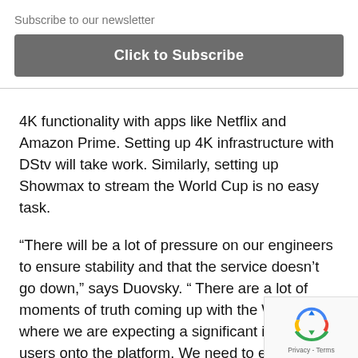Subscribe to our newsletter
[Figure (other): Click to Subscribe button — dark grey rounded rectangle with white bold text]
4K functionality with apps like Netflix and Amazon Prime. Setting up 4K infrastructure with DStv will take work. Similarly, setting up Showmax to stream the World Cup is no easy task.
“There will be a lot of pressure on our engineers to ensure stability and that the service doesn’t go down,” says Duovsky. “ There are a lot of moments of truth coming up with the World Cup, where we are expecting a significant influx of users onto the platform. We need to ensure we don’t disappoint them.”
[Figure (other): reCAPTCHA badge with spinning arrows logo and Privacy - Terms links]